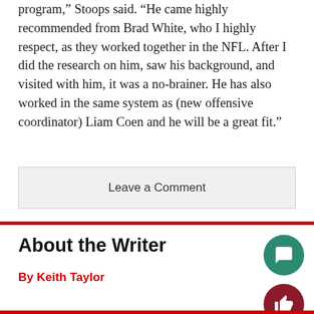program,” Stoops said. “He came highly recommended from Brad White, who I highly respect, as they worked together in the NFL. After I did the research on him, saw his background, and visited with him, it was a no-brainer. He has also worked in the same system as (new offensive coordinator) Liam Coen and he will be a great fit.”
Leave a Comment
About the Writer
By Keith Taylor